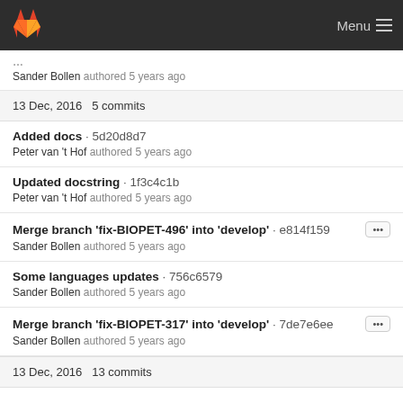GitLab Menu
Sander Bollen authored 5 years ago
13 Dec, 2016  5 commits
Added docs · 5d20d8d7
Peter van 't Hof authored 5 years ago
Updated docstring · 1f3c4c1b
Peter van 't Hof authored 5 years ago
Merge branch 'fix-BIOPET-496' into 'develop' · e814f159
Sander Bollen authored 5 years ago
Some languages updates · 756c6579
Sander Bollen authored 5 years ago
Merge branch 'fix-BIOPET-317' into 'develop' · 7de7e6ee
Sander Bollen authored 5 years ago
13 Dec, 2016  13 commits